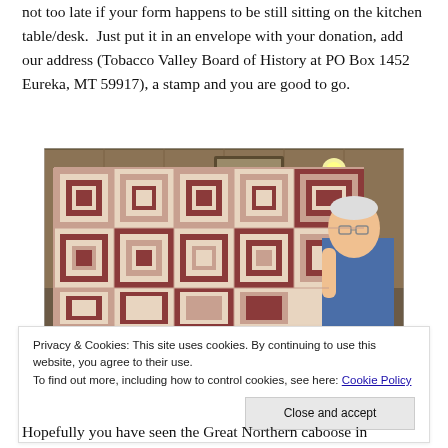not too late if your form happens to be still sitting on the kitchen table/desk.  Just put it in an envelope with your donation, add our address (Tobacco Valley Board of History at PO Box 1452  Eureka, MT 59917), a stamp and you are good to go.
[Figure (photo): An elderly woman holding up a large quilt with a log cabin pattern in red, pink, and cream colors. The photo is taken indoors with wood-paneled walls and framed artwork visible in the background.]
Privacy & Cookies: This site uses cookies. By continuing to use this website, you agree to their use.
To find out more, including how to control cookies, see here: Cookie Policy
Hopefully you have seen the Great Northern caboose in